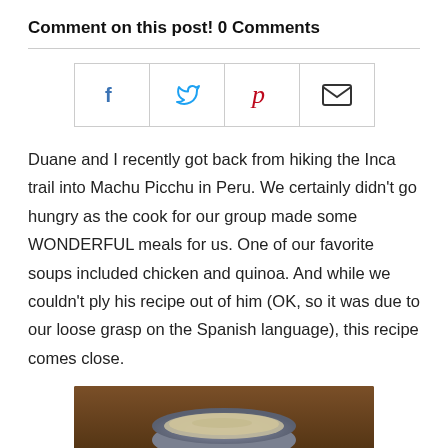Comment on this post! 0 Comments
[Figure (infographic): Social share bar with Facebook, Twitter, Pinterest, and Email icons in a bordered grid]
Duane and I recently got back from hiking the Inca trail into Machu Picchu in Peru. We certainly didn't go hungry as the cook for our group made some WONDERFUL meals for us. One of our favorite soups included chicken and quinoa. And while we couldn't ply his recipe out of him (OK, so it was due to our loose grasp on the Spanish language), this recipe comes close.
[Figure (photo): Photo of a bowl of soup (chicken and quinoa) in a blue-gray bowl on a wooden surface, partially visible at bottom of page]